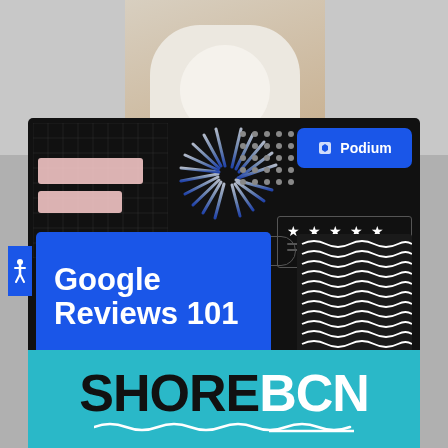[Figure (photo): Person in white clothing photographed from waist up, light background]
[Figure (infographic): Black card with decorative elements: grid pattern, pink rectangles, starburst, dot grid, Podium logo button (blue), search bar, star rating box, blue 'Google Reviews 101' title block, wave pattern, X marks at bottom]
Google Reviews 101
[Figure (logo): ShoreBCN logo on teal background — bold black SHORE with white BCN, wavy underline]